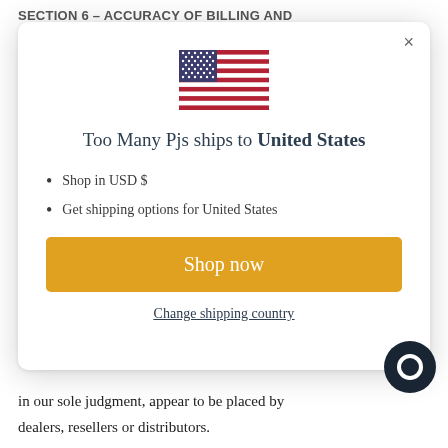SECTION 6 – ACCURACY OF BILLING AND
[Figure (screenshot): Modal dialog showing US flag and shipping options for Too Many Pjs store]
Too Many Pjs ships to United States
Shop in USD $
Get shipping options for United States
Shop now
Change shipping country
in our sole judgment, appear to be placed by dealers, resellers or distributors.